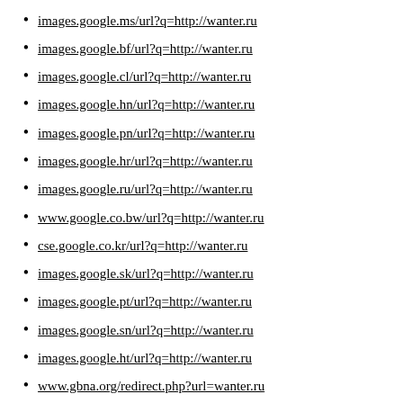images.google.ms/url?q=http://wanter.ru
images.google.bf/url?q=http://wanter.ru
images.google.cl/url?q=http://wanter.ru
images.google.hn/url?q=http://wanter.ru
images.google.pn/url?q=http://wanter.ru
images.google.hr/url?q=http://wanter.ru
images.google.ru/url?q=http://wanter.ru
www.google.co.bw/url?q=http://wanter.ru
cse.google.co.kr/url?q=http://wanter.ru
images.google.sk/url?q=http://wanter.ru
images.google.pt/url?q=http://wanter.ru
images.google.sn/url?q=http://wanter.ru
images.google.ht/url?q=http://wanter.ru
www.gbna.org/redirect.php?url=wanter.ru
w3seo.info/Text-To-Html-Ratio/wanter.ru
0.7ba.info/out.php?url=http://wanter.ru
www.officialmegtilly.com/?URL=wanter.ru
rea-awards.ru/r.php?go=http://wanter.ru
www.themza.com/redirect.php?r=wanter.ru